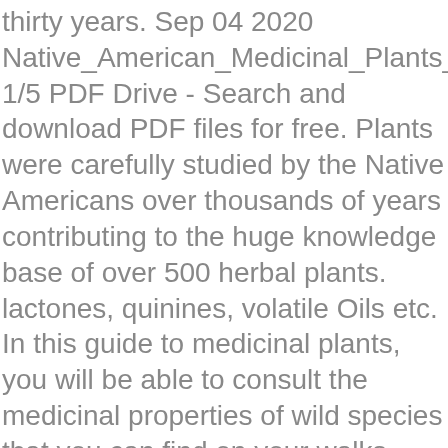thirty years. Sep 04 2020 Native_American_Medicinal_Plants_An_Ethnobotanical_ 1/5 PDF Drive - Search and download PDF files for free. Plants were carefully studied by the Native Americans over thousands of years contributing to the huge knowledge base of over 500 herbal plants. lactones, quinines, volatile Oils etc. In this guide to medicinal plants, you will be able to consult the medicinal properties of wild species that you can find on your walks through nature. This knowledge might just save your life. The following is a medicinal plants list of common species that can be found in most areas throughout North America. Nature has blessed us with an array of amazing medicinal plants. Over 40 percent of perscription drugs in the US have at least one ingredient found in nature. American Indian Medicine Practice … Long history of use as a medicinal plants by